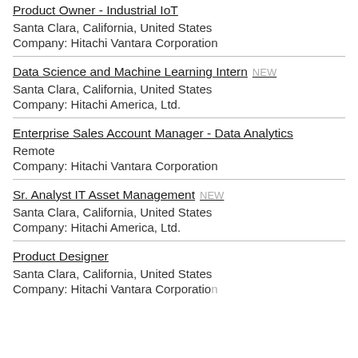Product Owner - Industrial IoT
Santa Clara, California, United States
Company: Hitachi Vantara Corporation
Data Science and Machine Learning Intern NEW
Santa Clara, California, United States
Company: Hitachi America, Ltd.
Enterprise Sales Account Manager - Data Analytics
Remote
Company: Hitachi Vantara Corporation
Sr. Analyst IT Asset Management NEW
Santa Clara, California, United States
Company: Hitachi America, Ltd.
Product Designer
Santa Clara, California, United States
Company: Hitachi Vantara Corporation